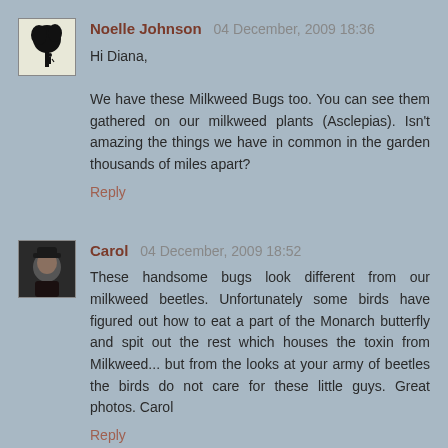[Figure (illustration): Avatar image of Noelle Johnson showing a black silhouette illustration of a person under a tree]
Noelle Johnson  04 December, 2009 18:36
Hi Diana,

We have these Milkweed Bugs too. You can see them gathered on our milkweed plants (Asclepias). Isn't amazing the things we have in common in the garden thousands of miles apart?
Reply
[Figure (photo): Avatar photo of Carol showing a person wearing a hat]
Carol  04 December, 2009 18:52
These handsome bugs look different from our milkweed beetles. Unfortunately some birds have figured out how to eat a part of the Monarch butterfly and spit out the rest which houses the toxin from Milkweed... but from the looks at your army of beetles the birds do not care for these little guys. Great photos. Carol
Reply